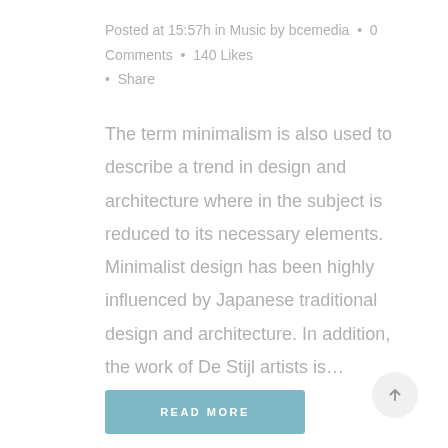Posted at 15:57h in Music by bcemedia  •  0 Comments  •  140 Likes  •  Share
The term minimalism is also used to describe a trend in design and architecture where in the subject is reduced to its necessary elements. Minimalist design has been highly influenced by Japanese traditional design and architecture. In addition, the work of De Stijl artists is…
READ MORE